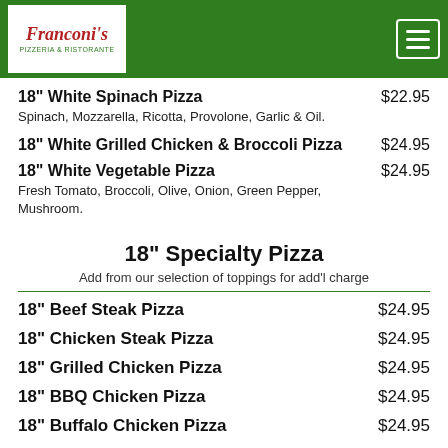Franconi's Pizzeria & Ristorante
18" White Spinach Pizza — $22.95 — Spinach, Mozzarella, Ricotta, Provolone, Garlic & Oil.
18" White Grilled Chicken & Broccoli Pizza — $24.95
18" White Vegetable Pizza — $24.95 — Fresh Tomato, Broccoli, Olive, Onion, Green Pepper, Mushroom.
18" Specialty Pizza
Add from our selection of toppings for add'l charge
18" Beef Steak Pizza — $24.95
18" Chicken Steak Pizza — $24.95
18" Grilled Chicken Pizza — $24.95
18" BBQ Chicken Pizza — $24.95
18" Buffalo Chicken Pizza — $24.95